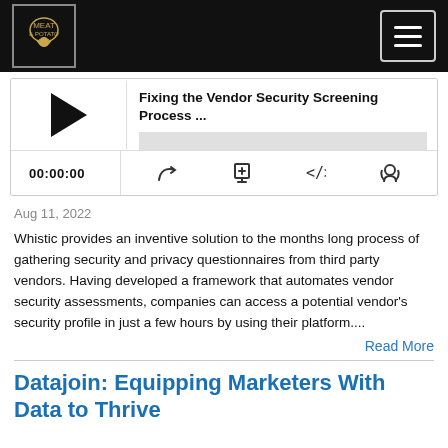[Figure (screenshot): Website navigation bar with podcast logo on left and hamburger menu icon on right, dark background]
[Figure (screenshot): Podcast player widget showing episode title 'Fixing the Vendor Security Screening Process ...' with play button, progress bar, time display 00:00:00, and control icons]
Aug 11, 2022
Whistic provides an inventive solution to the months long process of gathering security and privacy questionnaires from third party vendors. Having developed a framework that automates vendor security assessments, companies can access a potential vendor's security profile in just a few hours by using their platform....
Read More
Datajoin: Equipping Marketers With Data to Thrive